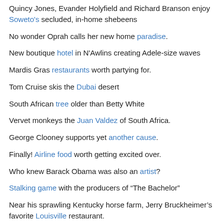Quincy Jones, Evander Holyfield and Richard Branson enjoy Soweto's secluded, in-home shebeens
No wonder Oprah calls her new home paradise.
New boutique hotel in N'Awlins creating Adele-size waves
Mardis Gras restaurants worth partying for.
Tom Cruise skis the Dubai desert
South African tree older than Betty White
Vervet monkeys the Juan Valdez of South Africa.
George Clooney supports yet another cause.
Finally! Airline food worth getting excited over.
Who knew Barack Obama was also an artist?
Stalking game with the producers of “The Bachelor”
Near his sprawling Kentucky horse farm, Jerry Bruckheimer’s favorite Louisville restaurant.